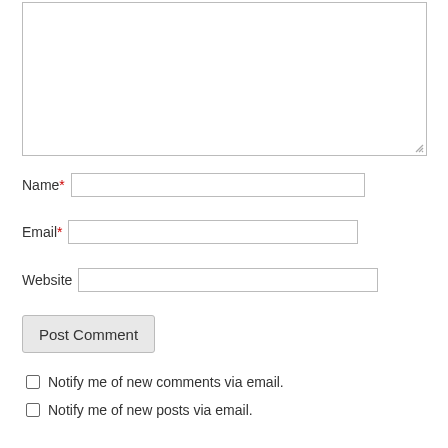[Figure (screenshot): A comment form textarea input box, partially visible, with a resize handle in the bottom-right corner.]
Name*
Email*
Website
Post Comment
Notify me of new comments via email.
Notify me of new posts via email.